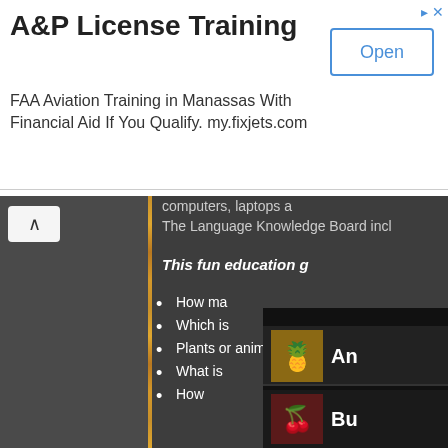A&P License Training
FAA Aviation Training in Manassas With Financial Aid If You Qualify. my.fixjets.com
computers, laptops a
The Language Knowledge Board incl
This fun education g
How ma
Which is
Plants or animals b
What is
How
[Figure (screenshot): Thumbnail images of educational content showing a pineapple icon with text 'An' and cherry/tomato icon with text 'Bu']